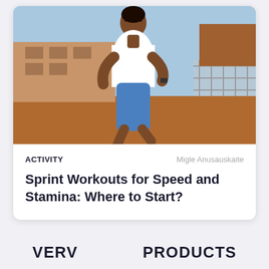[Figure (photo): A woman running outdoors in a white t-shirt and blue shorts/leggings, with buildings and a fence in the blurred background. Sunny day atmosphere with warm and earthy tones.]
ACTIVITY
Migle Anusauskaite
Sprint Workouts for Speed and Stamina: Where to Start?
VERV    PRODUCTS